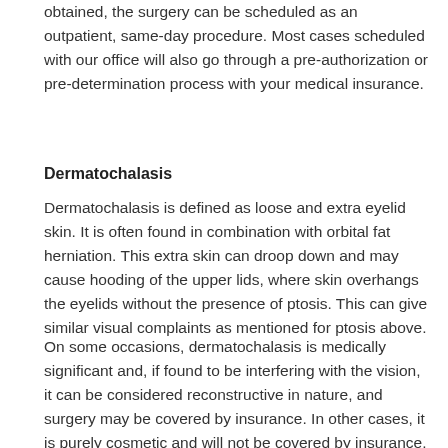obtained, the surgery can be scheduled as an outpatient, same-day procedure. Most cases scheduled with our office will also go through a pre-authorization or pre-determination process with your medical insurance.
Dermatochalasis
Dermatochalasis is defined as loose and extra eyelid skin. It is often found in combination with orbital fat herniation. This extra skin can droop down and may cause hooding of the upper lids, where skin overhangs the eyelids without the presence of ptosis. This can give similar visual complaints as mentioned for ptosis above.
On some occasions, dermatochalasis is medically significant and, if found to be interfering with the vision, it can be considered reconstructive in nature, and surgery may be covered by insurance. In other cases, it is purely cosmetic and will not be covered by insurance. A cosmetic Blepharoplasty can be performed in the office under local